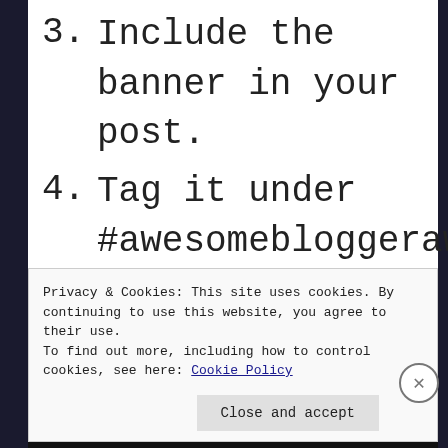3. Include the banner in your post.
4. Tag it under #awesomebloggeraward in the Reader.
5. Answer the questions
Privacy & Cookies: This site uses cookies. By continuing to use this website, you agree to their use.
To find out more, including how to control cookies, see here: Cookie Policy
Close and accept